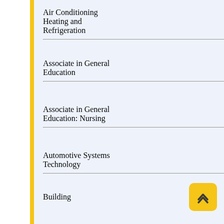Air Conditioning Heating and Refrigeration
Associate in General Education
Associate in General Education: Nursing
Automotive Systems Technology
Building Construction Technology
Business Administration
Business